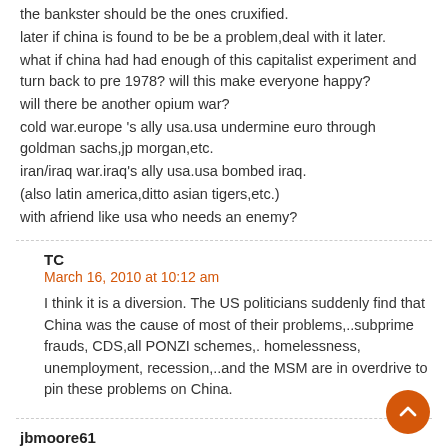the bankster should be the ones cruxified.
later if china is found to be be a problem,deal with it later.
what if china had had enough of this capitalist experiment and turn back to pre 1978? will this make everyone happy?
will there be another opium war?
cold war.europe 's ally usa.usa undermine euro through goldman sachs,jp morgan,etc.
iran/iraq war.iraq's ally usa.usa bombed iraq.
(also latin america,ditto asian tigers,etc.)
with afriend like usa who needs an enemy?
TC
March 16, 2010 at 10:12 am
I think it is a diversion. The US politicians suddenly find that China was the cause of most of their problems,..subprime frauds, CDS,all PONZI schemes,. homelessness, unemployment, recession,..and the MSM are in overdrive to pin these problems on China.
jbmoore61
March 15, 2010 at 3:15 am